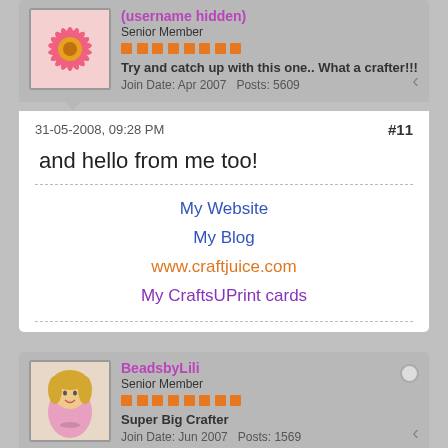Senior Member
[Figure (illustration): Pink gerbera daisy flower avatar]
Try and catch up with this one.. What a crafter!!!
Join Date: Apr 2007   Posts: 5609
31-05-2008, 09:28 PM
#11
and hello from me too!
My Website
My Blog
www.craftjuice.com
My CraftsUPrint cards
BeadsbyLili
Senior Member
[Figure (illustration): Cartoon woman avatar with blonde hair wearing a pink top]
Super Big Crafter
Join Date: Jun 2007   Posts: 1569
01-06-2008, 08:53 AM
#12